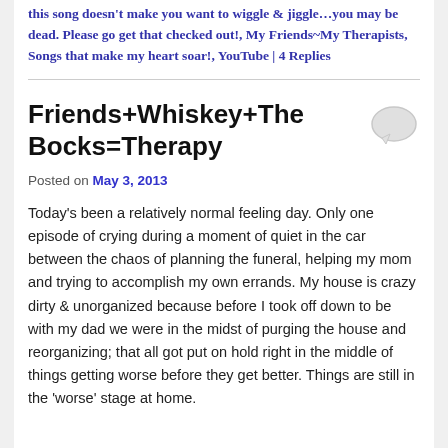this song doesn't make you want to wiggle & jiggle…you may be dead. Please go get that checked out!, My Friends~My Therapists, Songs that make my heart soar!, YouTube | 4 Replies
Friends+Whiskey+The Bocks=Therapy
Posted on May 3, 2013
Today's been a relatively normal feeling day. Only one episode of crying during a moment of quiet in the car between the chaos of planning the funeral, helping my mom and trying to accomplish my own errands. My house is crazy dirty & unorganized because before I took off down to be with my dad we were in the midst of purging the house and reorganizing; that all got put on hold right in the middle of things getting worse before they get better. Things are still in the 'worse' stage at home.